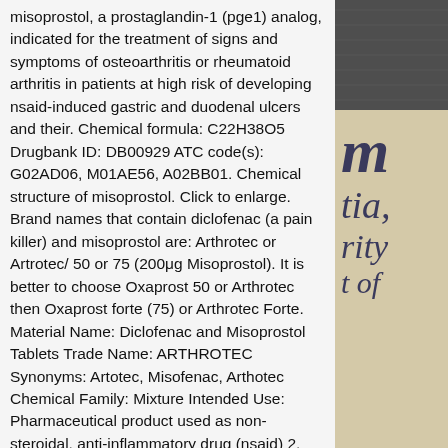misoprostol, a prostaglandin-1 (pge1) analog, indicated for the treatment of signs and symptoms of osteoarthritis or rheumatoid arthritis in patients at high risk of developing nsaid-induced gastric and duodenal ulcers and their. Chemical formula: C22H38O5 Drugbank ID: DB00929 ATC code(s): G02AD06, M01AE56, A02BB01. Chemical structure of misoprostol. Click to enlarge. Brand names that contain diclofenac (a pain killer) and misoprostol are: Arthrotec or Artrotec/ 50 or 75 (200μg Misoprostol). It is better to choose Oxaprost 50 or Arthrotec then Oxaprost forte (75) or Arthrotec Forte. Material Name: Diclofenac and Misoprostol Tablets Trade Name: ARTHROTEC Synonyms: Artotec, Misofenac, Arthotec Chemical Family: Mixture Intended Use: Pharmaceutical product used as non-steroidal, anti-inflammatory drug (nsaid) 2. HAZARDS IDENTIFICATION Appearance: White tablet
[Figure (photo): Right side shows two overlapping images: dark textured image at top and aged/vintage book page text in sepia tones below, with partial letters visible: m, tia, rity, t of]